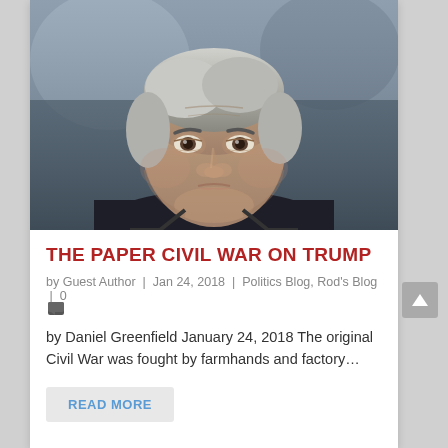[Figure (photo): Close-up photograph of an older man with gray hair in a dark suit, serious expression, looking at camera]
THE PAPER CIVIL WAR ON TRUMP
by Guest Author | Jan 24, 2018 | Politics Blog, Rod's Blog | 0
by Daniel Greenfield January 24, 2018 The original Civil War was fought by farmhands and factory...
READ MORE